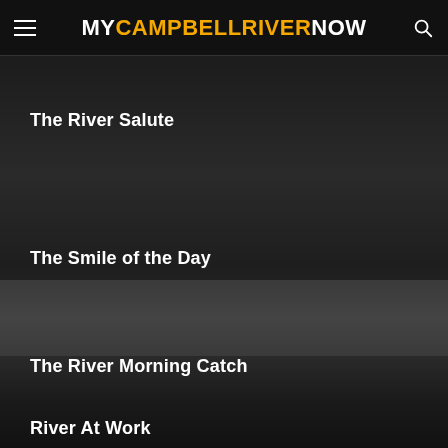MYCAMPBELLRIVERNOW
The River Salute
The Smile of the Day
The River Morning Catch
River At Work